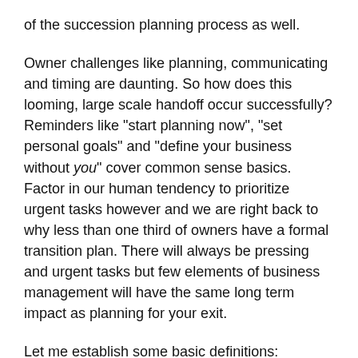of the succession planning process as well.
Owner challenges like planning, communicating and timing are daunting. So how does this looming, large scale handoff occur successfully? Reminders like "start planning now", "set personal goals" and "define your business without you" cover common sense basics. Factor in our human tendency to prioritize urgent tasks however and we are right back to why less than one third of owners have a formal transition plan. There will always be pressing and urgent tasks but few elements of business management will have the same long term impact as planning for your exit.
Let me establish some basic definitions:
Estate Planning- How assets (generally business and non-business) are to be transferred